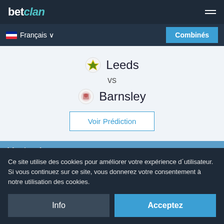betclan
Français
Combinés
Leeds vs Barnsley
Voir Prédiction
Mexico Apertura
Temps: 01:05
Date: 2022.08.24
Ce site utilise des cookies pour améliorer votre expérience d´utilisateur. Si vous continuez sur ce site, vous donnerez votre consentement à notre utilisation des cookies.
Info
Acceptez